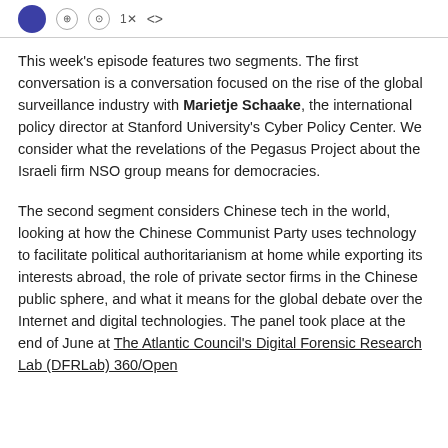[logo and social icons]
This week's episode features two segments. The first conversation is a conversation focused on the rise of the global surveillance industry with Marietje Schaake, the international policy director at Stanford University's Cyber Policy Center. We consider what the revelations of the Pegasus Project about the Israeli firm NSO group means for democracies.
The second segment considers Chinese tech in the world, looking at how the Chinese Communist Party uses technology to facilitate political authoritarianism at home while exporting its interests abroad, the role of private sector firms in the Chinese public sphere, and what it means for the global debate over the Internet and digital technologies. The panel took place at the end of June at The Atlantic Council's Digital Forensic Research Lab (DFRLab) 360/Open